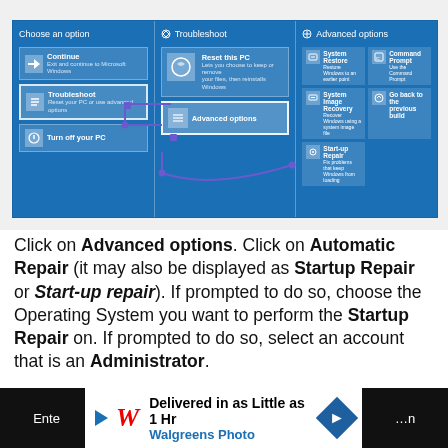[Figure (screenshot): Windows 10 recovery screen showing three panels: 'Choose an option' with Continue, Troubleshoot, Turn off your PC buttons; 'Troubleshoot' with Reset this PC and Advanced options buttons; 'Advanced options' with System Restore, System Image Recovery, Startup Repair, Command Prompt, Go back to previous build. Arrows highlight the path: Troubleshoot → Advanced options.]
Click on Advanced options. Click on Automatic Repair (it may also be displayed as Startup Repair or Start-up repair). If prompted to do so, choose the Operating System you want to perform the Startup Repair on. If prompted to do so, select an account that is an Administrator.
[Figure (screenshot): Advertisement bar: partial text on left dark area, Walgreens Photo advertisement in center (Delivered in as Little as 1 Hr), navigation icon, Millward Brown logo on right dark area]